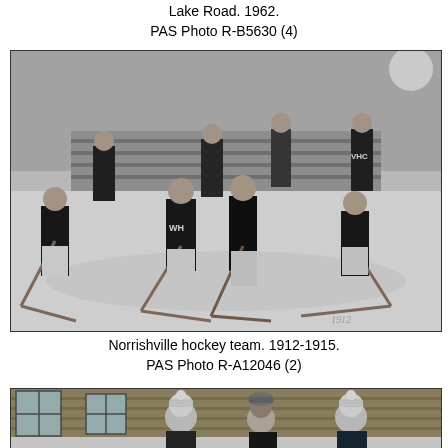Lake Road. 1962.
PAS Photo R-B5630 (4)
[Figure (photo): Black and white photograph of the Norrishville hockey team, circa 1912-1915. Group of young men in hockey uniforms posing with hockey sticks on an outdoor ice rink.]
Norrishville hockey team. 1912-1915.
PAS Photo R-A12046 (2)
[Figure (photo): Black and white photograph showing people in winter hats and coats standing in front of a wooden building, partially visible at the bottom of the page.]